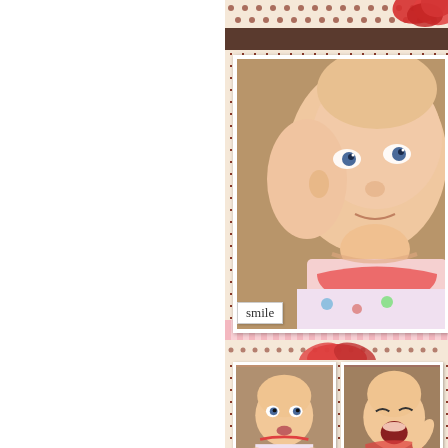[Figure (photo): Scrapbook page showing a baby/infant. Left half of page is white. Right half is a decorated scrapbook layout with mushroom/polka dot patterned background paper, red flower embellishments, brown band, pink striped band. Contains a large close-up photo of a baby's face at top, two smaller photos at bottom showing the same baby. A 'smile' label tag is visible on the large photo.]